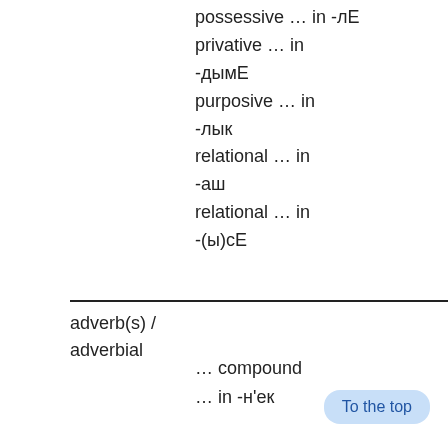possessive … in -лЕ
privative … in -дымЕ
purposive … in -лык
relational … in -аш
relational … in -(ы)сЕ
adverb(s) / adverbial
… compound
… in -н'ек